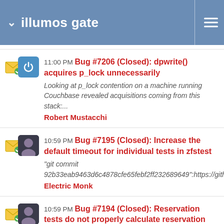illumos gate
11:00 PM Bug #7206 (Closed): dpwrite() acquires p_lock unnecessarily
Looking at p_lock contention on a machine running Couchbase revealed acquisitions coming from this stack:...
Robert Mustacchi
10:59 PM Bug #7195 (Closed): Increase the default timeout for individual tests in zfstest
"git commit 92b33eab9463d6c4878cfe65febf2ff232689649":https://github.com/gate/commit/92b33eab9463d6c4...
Electric Monk
10:59 PM Bug #7194 (Closed): Reservation tests do not properly calculate reservation size
"git commit 92b33eab9463d6c4878cfe65febf2ff232689649":https://github.com/gate/commit/92b33eab9463d6c4...